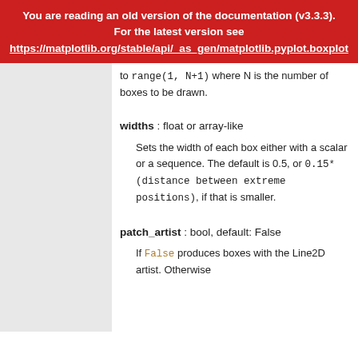You are reading an old version of the documentation (v3.3.3). For the latest version see https://matplotlib.org/stable/api/_as_gen/matplotlib.pyplot.boxplot
to range(1, N+1) where N is the number of boxes to be drawn.
widths : float or array-like
Sets the width of each box either with a scalar or a sequence. The default is 0.5, or 0.15*(distance between extreme positions), if that is smaller.
patch_artist : bool, default: False
If False produces boxes with the Line2D artist. Otherwise...